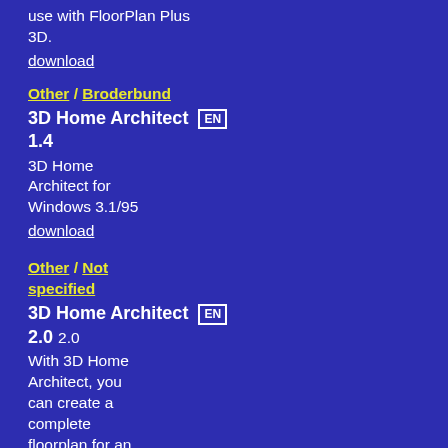use with FloorPlan Plus 3D.
download
Other / Broderbund
3D Home Architect 1.4
3D Home Architect for Windows 3.1/95
download
Other / Not specified
3D Home Architect 2.0
With 3D Home Architect, you can create a complete floorplan for an entire home. Once you have